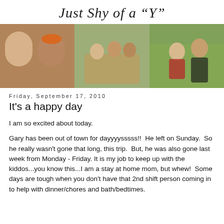Just Shy of a "Y"
[Figure (photo): Three family photos side by side: left shows a couple (woman and man in orange cap), center shows a family of four sitting outdoors, right shows two children (boy and girl).]
Friday, September 17, 2010
It's a happy day
I am so excited about today.
Gary has been out of town for dayyyysssss!!  He left on Sunday.  So he really wasn't gone that long, this trip.  But, he was also gone last week from Monday - Friday. It is my job to keep up with the kiddos...you know this...I am a stay at home mom, but whew!  Some days are tough when you don't have that 2nd shift person coming in to help with dinner/chores and bath/bedtimes.